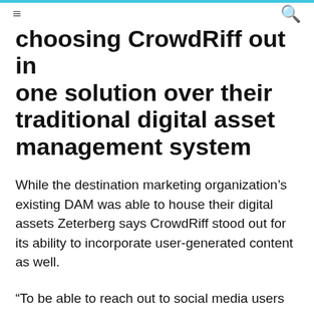≡  🔍
choosing CrowdRiff out in one solution over their traditional digital asset management system
While the destination marketing organization's existing DAM was able to house their digital assets Zeterberg says CrowdRiff stood out for its ability to incorporate user-generated content as well.
“To be able to reach out to social media users